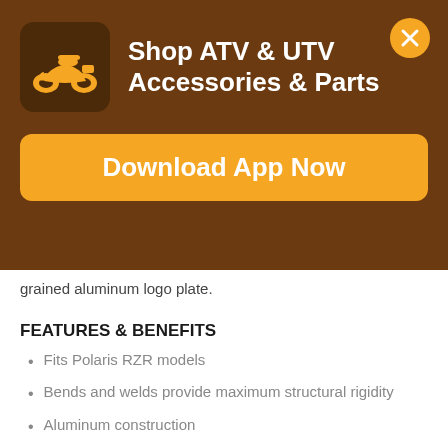[Figure (infographic): App promotional banner with brown background, ATV icon, title 'Shop ATV & UTV Accessories & Parts', and 'Download App Now' orange button]
grained aluminum logo plate.
FEATURES & BENEFITS
Fits Polaris RZR models
Bends and welds provide maximum structural rigidity
Aluminum construction